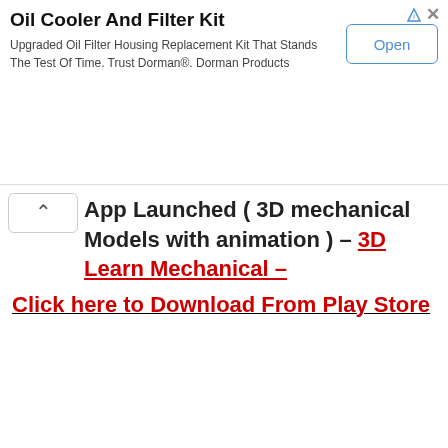[Figure (other): Advertisement banner for Oil Cooler And Filter Kit by Dorman Products with Open button]
App Launched ( 3D mechanical Models with animation ) – 3D Learn Mechanical – Click here to Download From Play Store